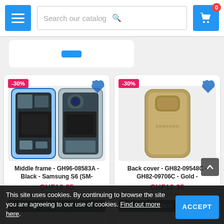[Figure (screenshot): E-commerce website header with hamburger menu button, search bar with placeholder 'Search our catalog', and shopping cart icon with badge showing 0]
[Figure (photo): Product card: Middle frame GH96-08583A Black Samsung S6 (SM- with -30% discount badge, showing internal phone frame components. Price CHF18.85]
Middle frame - GH96-08583A - Black - Samsung S6 (SM-
CHF18.85
[Figure (photo): Product card: Back cover GH82-09548C - GH82-09706C - Gold with -30% discount badge, showing gold back panel. Price CHF12.35]
Back cover - GH82-09548C - GH82-09706C - Gold -
CHF12.35
This site uses cookies. By continuing to browse the site you are agreeing to our use of cookies. Find out more here.